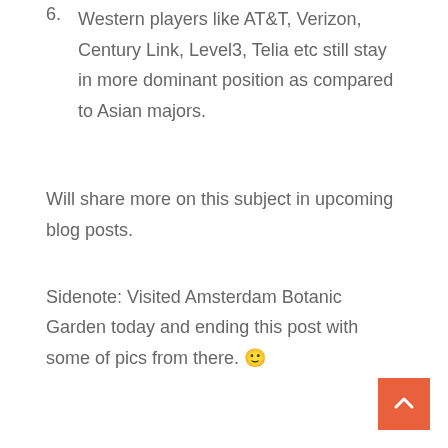6. Western players like AT&T, Verizon, Century Link, Level3, Telia etc still stay in more dominant position as compared to Asian majors.
Will share more on this subject in upcoming blog posts.
Sidenote: Visited Amsterdam Botanic Garden today and ending this post with some of pics from there. 🙂